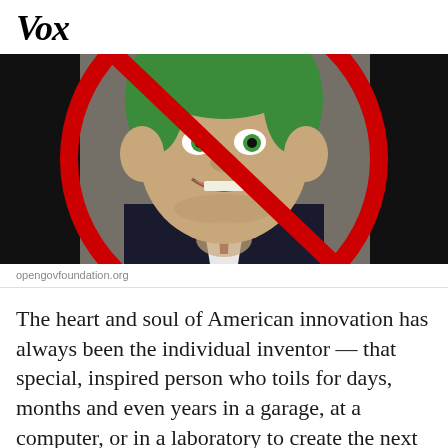Vox
[Figure (illustration): Cartoon caricature of a politician/troll figure with green hair and exaggerated features wearing a dark suit, overlaid with a large red prohibition/no symbol (circle with diagonal slash).]
opengovfoundation.org
The heart and soul of American innovation has always been the individual inventor — that special, inspired person who toils for days, months and even years in a garage, at a computer, or in a laboratory to create the next product, service or